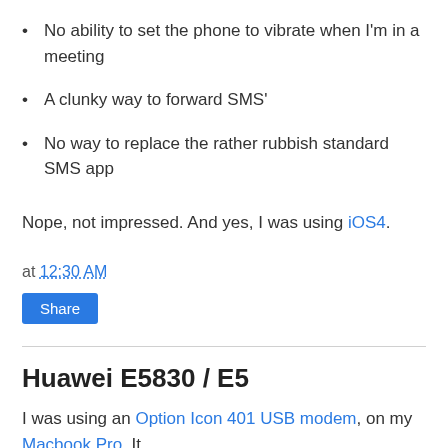No ability to set the phone to vibrate when I'm in a meeting
A clunky way to forward SMS'
No way to replace the rather rubbish standard SMS app
Nope, not impressed. And yes, I was using iOS4.
at 12:30 AM
Share
Huawei E5830 / E5
I was using an Option Icon 401 USB modem, on my Macbook Pro. It